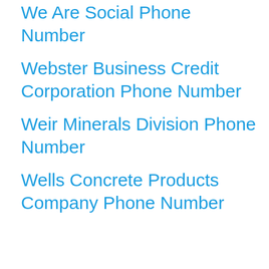We Are Social Phone Number
Webster Business Credit Corporation Phone Number
Weir Minerals Division Phone Number
Wells Concrete Products Company Phone Number